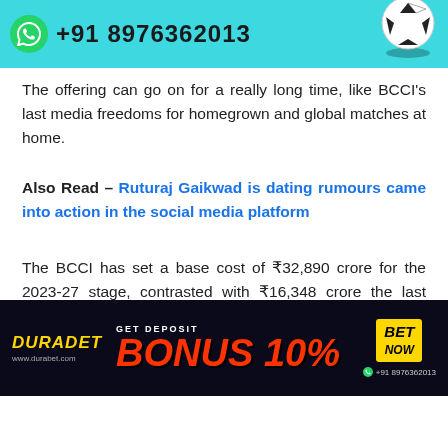[Figure (advertisement): Teal/cyan colored banner advertisement showing WhatsApp icon with phone number +91 8976362013 and a soccer ball graphic]
The offering can go on for a really long time, like BCCI's last media freedoms for homegrown and global matches at home.
Also Read – Ruturaj Gaikwad is dating rumours came into action in the social media platform
The BCCI has set a base cost of ₹32,890 crore for the 2023-27 stage, contrasted with ₹16,348 crore the last time, which is almost double the real one. ₹49 crore per match is th
[Figure (advertisement): Durabet dark-themed betting advertisement with yellow logo text, 'GET DEPOSIT BONUS 10%' in red and white, BET NOW badge, and +91 8976362013 contact]